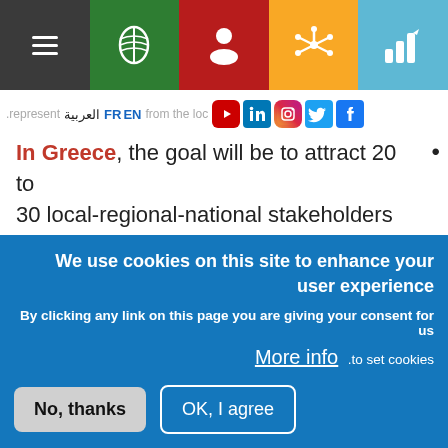[Figure (screenshot): Navigation bar with hamburger menu, green leaf icon, red person icon, gold network icon, and blue chart icon]
.represent FR EN from the loc العربية
In Greece, the goal will be to attract 20 to 30 local-regional-national stakeholders from the SSE sector, as well as public •
We use cookies on this site to enhance your user experience
By clicking any link on this page you are giving your consent for us
More info .to set cookies
No, thanks
OK, I agree